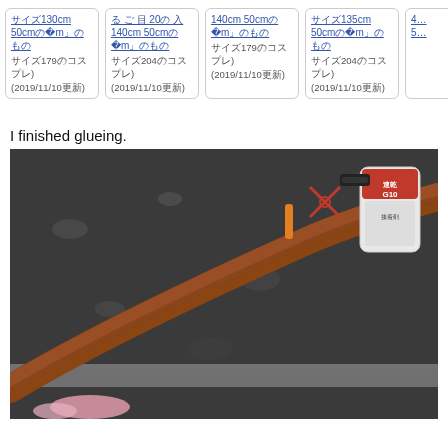[Figure (screenshot): Row of product listing cards with Japanese text links and dates (2019/11/10). Cards show product dimensions like 130cm 50cm 10cm, 20 140cm 50cm 10cm, 140cm 50cm 10cm, 135cm 50cm 10cm. Partially visible fifth card on the right.]
I finished glueing.
[Figure (photo): Photo of a long brown leather or foam cylindrical object (possibly a bow or staff) lying diagonally on a dark workshop table. In the background: red scissors, an orange tool, a stapler, and a can of fast-drying G10 glue/adhesive.]